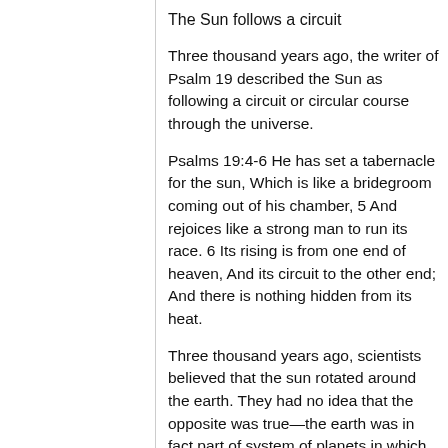The Sun follows a circuit
Three thousand years ago, the writer of Psalm 19 described the Sun as following a circuit or circular course through the universe.
Psalms 19:4-6 He has set a tabernacle for the sun, Which is like a bridegroom coming out of his chamber, 5 And rejoices like a strong man to run its race. 6 Its rising is from one end of heaven, And its circuit to the other end; And there is nothing hidden from its heat.
Three thousand years ago, scientists believed that the sun rotated around the earth. They had no idea that the opposite was true—the earth was in fact part of system of planets in which the sun was at the center. During the earlier history of mankind, the concept of our sun moving through a universe of other stars and planets in a circuit was incomprehensible. The sun was first spoken of as the center of the solar system by the Greek Aristarchus in the third century. It was not until the